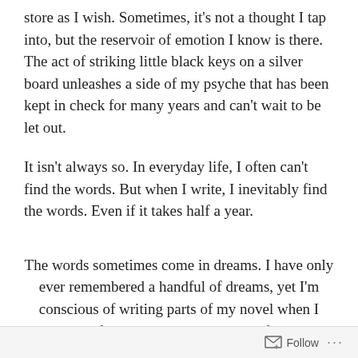store as I wish. Sometimes, it's not a thought I tap into, but the reservoir of emotion I know is there. The act of striking little black keys on a silver board unleashes a side of my psyche that has been kept in check for many years and can't wait to be let out.
It isn't always so. In everyday life, I often can't find the words. But when I write, I inevitably find the words. Even if it takes half a year.
The words sometimes come in dreams. I have only ever remembered a handful of dreams, yet I'm conscious of writing parts of my novel when I sleep. Or of adding to and subtracting from it, as I'm doing now. I will wake up with
Follow ···